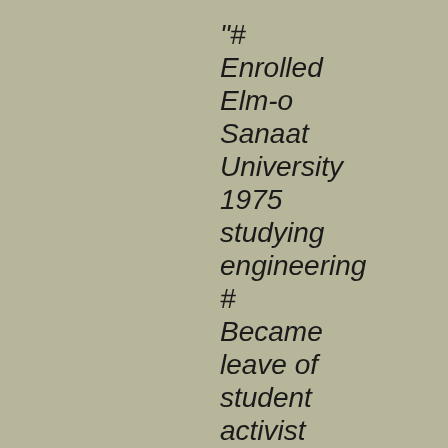"# Enrolled Elm-o Sanaat University 1975 studying engineering # Became leave of student activist group at Elm-o Sanaat University # Founded the